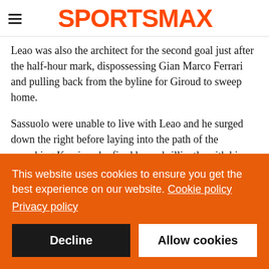SPORTSMAX
Leao was also the architect for the second goal just after the half-hour mark, dispossessing Gian Marco Ferrari and pulling back from the byline for Giroud to sweep home.
Sassuolo were unable to live with Leao and he surged down the right before laying into the path of the onrushing Kessie, who fired home brilliantly with his left foot nine minutes before half-time.
Milan were in complete control and there was party atmosphere
This website uses cookies to ensure you get the best experience on our website. Cookie policy
Privacy policy
Decline
Allow cookies